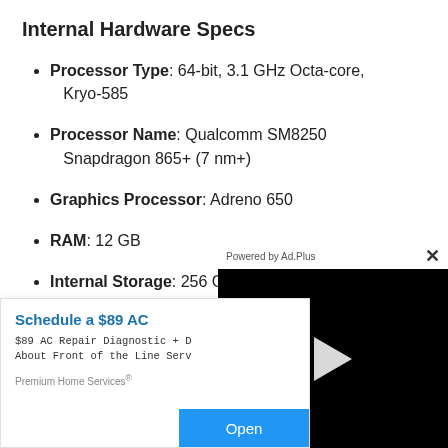Internal Hardware Specs
Processor Type: 64-bit, 3.1 GHz Octa-core, Kryo-585
Processor Name: Qualcomm SM8250 Snapdragon 865+ (7 nm+)
Graphics Processor: Adreno 650
RAM: 12 GB
Internal Storage: 256 G[B — partially obscured]
Ext[ernal Storage — partially obscured]
Photoc[amera — partially obscured]
[Figure (screenshot): Ad overlay with video player. Left panel: white card with 'Schedule a $89 AC' title (truncated), '$89 AC Repair Diagnostic + D...' and 'About Front of the Line Serv...' text, 'Premium Home Services®' brand, 'Open' button. Right panel: dark video player with 'Powered by Ad.Plus' header and X close button, black screen with white play triangle.]